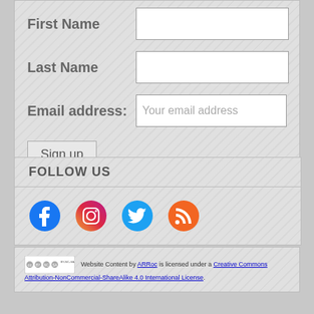First Name
Last Name
Email address:
Sign up
FOLLOW US
[Figure (infographic): Social media icons: Facebook, Instagram, Twitter, RSS feed]
Website Content by ARRoc is licensed under a Creative Commons Attribution-NonCommercial-ShareAlike 4.0 International License.